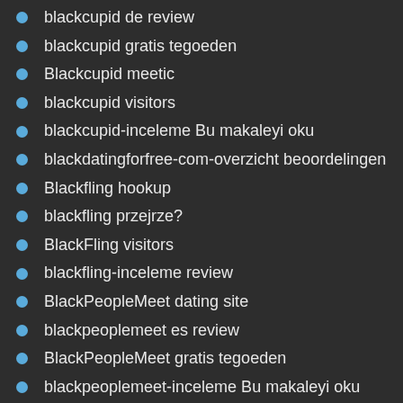blackcupid de review
blackcupid gratis tegoeden
Blackcupid meetic
blackcupid visitors
blackcupid-inceleme Bu makaleyi oku
blackdatingforfree-com-overzicht beoordelingen
Blackfling hookup
blackfling przejrze?
BlackFling visitors
blackfling-inceleme review
BlackPeopleMeet dating site
blackpeoplemeet es review
BlackPeopleMeet gratis tegoeden
blackpeoplemeet-inceleme Bu makaleyi oku
blackplanet pl review